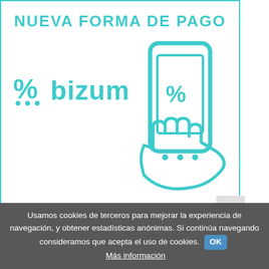[Figure (illustration): Bizum payment advertisement with teal border, heading 'NUEVA FORMA DE PAGO', Bizum logo with percent symbol, and hand holding smartphone icon in teal]
Usamos cookies de terceros para mejorar la experiencia de navegación, y obtener estadísticas anónimas. Si continúa navegando consideramos que acepta el uso de cookies. OK Más información